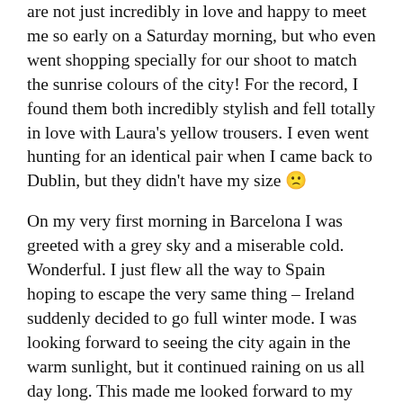are not just incredibly in love and happy to meet me so early on a Saturday morning, but who even went shopping specially for our shoot to match the sunrise colours of the city! For the record, I found them both incredibly stylish and fell totally in love with Laura's yellow trousers. I even went hunting for an identical pair when I came back to Dublin, but they didn't have my size 🙁
On my very first morning in Barcelona I was greeted with a grey sky and a miserable cold. Wonderful. I just flew all the way to Spain hoping to escape the very same thing – Ireland suddenly decided to go full winter mode. I was looking forward to seeing the city again in the warm sunlight, but it continued raining on us all day long. This made me looked forward to my sunrise adventure even more, and finally seeing the sun cast its warmth on the sand-coloured buildings of Barcelona made me feel incredibly happy. And then I saw Laura in those yellow trousers, and I knew it would be an amazing morning. I just wish I'd had the time to keep exploring the city with them more and more! I remember being just as excited about the morning light when I went out to shoot a beautiful wedding anniversary in Dublin last